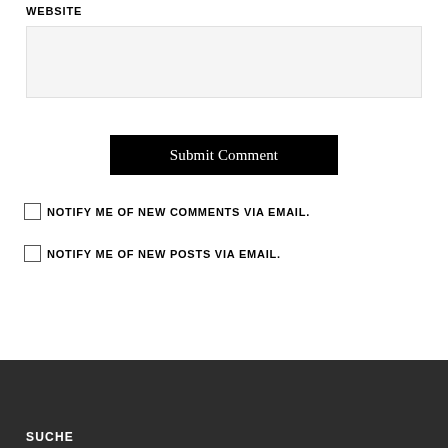WEBSITE
[Figure (screenshot): Text input field with light gray background for website URL entry]
Submit Comment
NOTIFY ME OF NEW COMMENTS VIA EMAIL.
NOTIFY ME OF NEW POSTS VIA EMAIL.
SUCHE